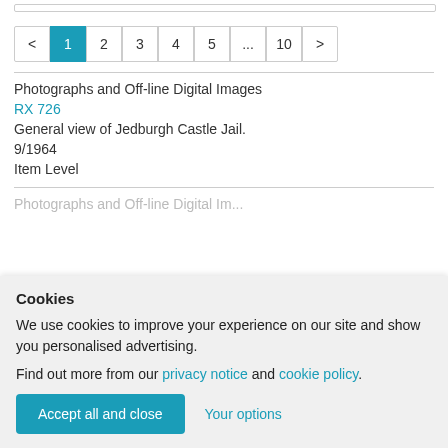[Figure (screenshot): Pagination control showing pages: < 1 2 3 4 5 ... 10 >]
Photographs and Off-line Digital Images
RX 726
General view of Jedburgh Castle Jail.
9/1964
Item Level
Photographs and Off-line Digital Images (partial, cut off)
Cookies
We use cookies to improve your experience on our site and show you personalised advertising.
Find out more from our privacy notice and cookie policy.
Accept all and close
Your options